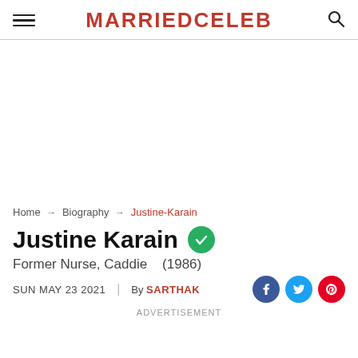MARRIEDCELEB
Home → Biography → Justine-Karain
Justine Karain
Former Nurse, Caddie    (1986)
SUN MAY 23 2021  |  By SARTHAK
ADVERTISEMENT